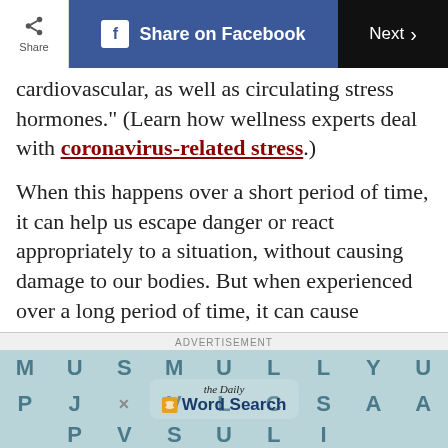Share | Share on Facebook | Next
cardiovascular, as well as circulating stress hormones." (Learn how wellness experts deal with coronavirus-related stress.)
When this happens over a short period of time, it can help us escape danger or react appropriately to a situation, without causing damage to our bodies. But when experienced over a long period of time, it can cause damage to the cardiovascular system.
What can we do about it?
[Figure (screenshot): Advertisement banner: The Daily Word Search game advertisement with letter grid showing M U S M U L L Y U P J / V L C S A A P V S U L I and a logo in the center]